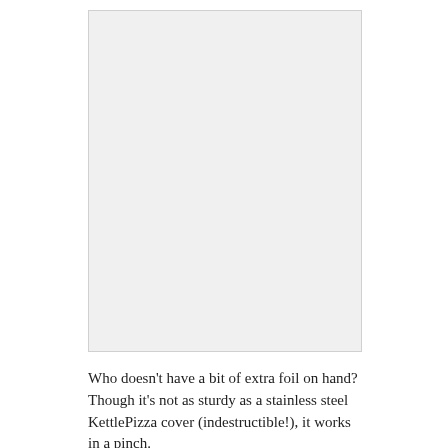[Figure (photo): A large light gray placeholder image area representing a photograph, likely of foil or a KettlePizza cover cooking setup.]
Who doesn't have a bit of extra foil on hand? Though it's not as sturdy as a stainless steel KettlePizza cover (indestructible!), it works in a pinch.